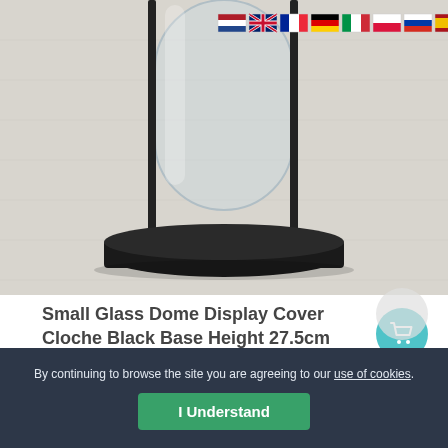[Figure (photo): Photo of a small glass dome display cover cloche on a black wooden base, placed on a light grey wooden surface. Multiple country flags visible in the top-right corner of the image.]
Small Glass Dome Display Cover Cloche Black Base Height 27.5cm
£27.90
By continuing to browse the site you are agreeing to our use of cookies.
I Understand